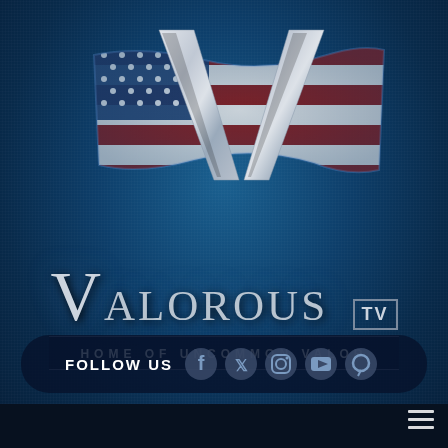[Figure (logo): Valorous TV logo with American flag waving behind a large metallic silver V letter on a dark blue textured background]
VALOROUS TV
HOME OF UNCOMMON VALOR
FOLLOW US